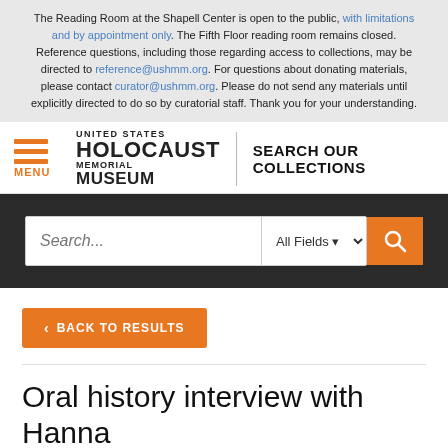The Reading Room at the Shapell Center is open to the public, with limitations and by appointment only. The Fifth Floor reading room remains closed. Reference questions, including those regarding access to collections, may be directed to reference@ushmm.org. For questions about donating materials, please contact curator@ushmm.org. Please do not send any materials until explicitly directed to do so by curatorial staff. Thank you for your understanding.
[Figure (logo): United States Holocaust Memorial Museum logo with hamburger menu icon and SEARCH OUR COLLECTIONS text]
[Figure (screenshot): Search bar with placeholder text 'Search...', All Fields dropdown, and orange search button]
< BACK TO RESULTS
Oral history interview with Hanna